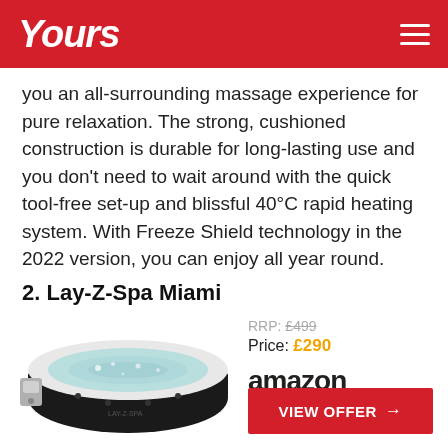Yours
you an all-surrounding massage experience for pure relaxation. The strong, cushioned construction is durable for long-lasting use and you don't need to wait around with the quick tool-free set-up and blissful 40°C rapid heating system. With Freeze Shield technology in the 2022 version, you can enjoy all year round.
2. Lay-Z-Spa Miami
[Figure (photo): Lay-Z-Spa Miami inflatable hot tub, circular shape, black exterior, white rim, water inside, with control unit attached to the side.]
RRP: £499
Price: £290
[Figure (logo): Amazon logo in black text with orange arrow swoosh beneath]
VIEW OFFER →